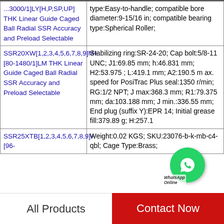| Product | Specifications |
| --- | --- |
| ...3000/1]LY[H,P,SP,UP] THK Linear Guide Caged Ball Radial SSR Accuracy and Preload Selectable | type:Easy-to-handle; compatible bore diameter:9-15/16 in; compatible bearing type:Spherical Roller; |
| SSR20XW[1,2,3,4,5,6,7,8,9]M+[80-1480/1]LM THK Linear Guide Caged Ball Radial SSR Accuracy and Preload Selectable | Stabilizing ring:SR-24-20; Cap bolt:5/8-11 UNC; J1:69.85 mm; h:46.831 mm; H2:53.975; L:419.1 mm; A2:190.5 mm; Max. speed for PosiTrac Plus seal:1350 r/min; RG:1/2 NPT; J max:368.3 mm; R1:79.375 mm; da:103.188 mm; J min.:336.55 mm; End plug (suffix Y):EPR 14; Initial grease fill:379.89 g; H:257.1 |
| SSR25XTB[1,2,3,4,5,6,7,8,9]+[96- | Weight:0.02 KGS; SKU:23076-b-k-mb-c4-qbl; Cage Type:Brass; |
[Figure (other): WhatsApp Online chat button overlay showing green WhatsApp icon with 'WhatsApp Online' text label]
All Products
Contact Now